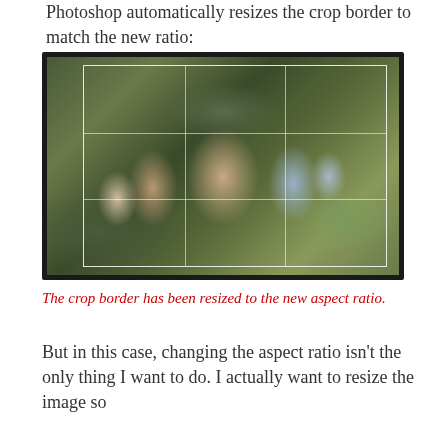Photoshop automatically resizes the crop border to match the new ratio:
[Figure (photo): Family photo of five people (mother, three children, and father) posing outdoors with a green garden background. A Photoshop crop border with rule-of-thirds grid overlay is visible on the photo.]
The crop border has been resized to the new aspect ratio.
But in this case, changing the aspect ratio isn't the only thing I want to do. I actually want to resize the image so that it will...